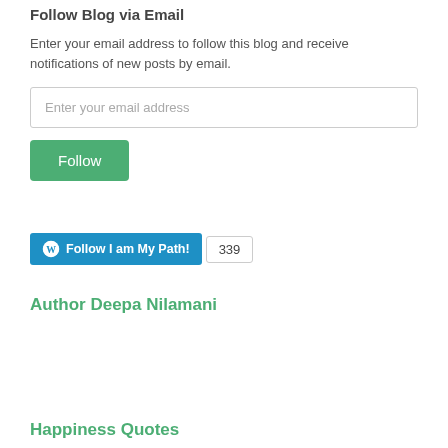Follow Blog via Email
Enter your email address to follow this blog and receive notifications of new posts by email.
[Figure (other): Email address input field with placeholder text 'Enter your email address']
[Figure (other): Green Follow button]
[Figure (other): WordPress Follow button labeled 'Follow I am My Path!' with follower count badge showing 339]
Author Deepa Nilamani
Happiness Quotes